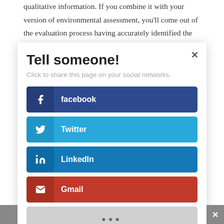qualitative information. If you combine it with your version of environmental assessment, you'll come out of the evaluation process having accurately identified the skill level of each candidate. You may even uncover highly
Tell someone!
Click to share this page on your social networks.
facebook
Twitter
LinkedIn
Gmail
...